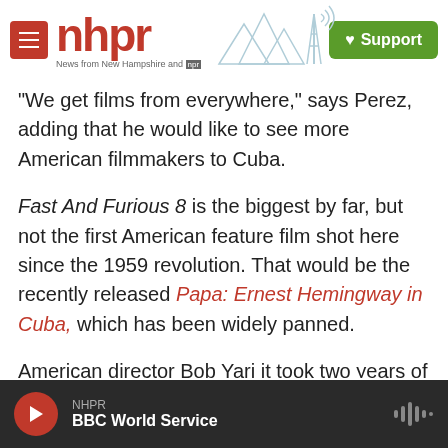[Figure (logo): NHPR logo with red hamburger menu button, red 'nhpr' wordmark, 'News from New Hampshire and NPR' tagline, mountain/radio tower graphic, and green Support button]
"We get films from everywhere," says Perez, adding that he would like to see more American filmmakers to Cuba.
Fast And Furious 8 is the biggest by far, but not the first American feature film shot here since the 1959 revolution. That would be the recently released Papa: Ernest Hemingway in Cuba, which has been widely panned.
American director Bob Yari it took two years of lobbying to overcome red tape with the U.S. Treasury Department before he could shoot on
[Figure (screenshot): NHPR audio player bar at bottom: red play button, NHPR label, BBC World Service show title, audio waveform icon]